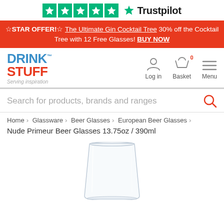[Figure (logo): Trustpilot 5-star rating bar with green stars and Trustpilot logo]
☆STAR OFFER!☆ The Ultimate Gin Cocktail Tree 30% off the Cocktail Tree with 12 Free Glasses! BUY NOW
[Figure (logo): DrinkStuff logo with 'Serving inspiration' tagline and navigation icons: Log in, Basket (0), Menu]
Search for products, brands and ranges
Home > Glassware > Beer Glasses > European Beer Glasses >
Nude Primeur Beer Glasses 13.75oz / 390ml
[Figure (photo): Clear beer glass (Nude Primeur) - transparent stemless pint-style glass]